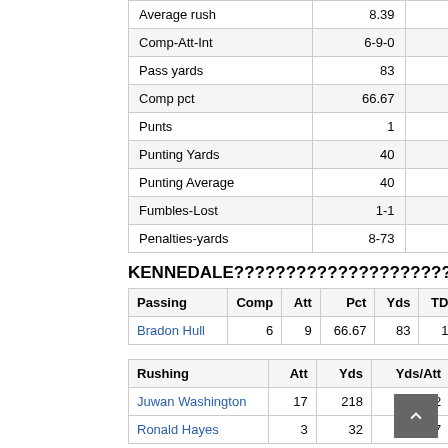|  |  |  |
| --- | --- | --- |
| Average rush | 8.39 | 8.86 |
| Comp-Att-Int | 6-9-0 | 2-9-0 |
| Pass yards | 83 | 79 |
| Comp pct | 66.67 | 22.22 |
| Punts | 1 | 6 |
| Punting Yards | 40 | 136 |
| Punting Average | 40 | 22.67 |
| Fumbles-Lost | 1-1 | 2-2 |
| Penalties-yards | 8-73 | 6-67 |
KENNEDALE???????????????????????????????????
| Passing | Comp | Att | Pct | Yds | TD | INT |
| --- | --- | --- | --- | --- | --- | --- |
| Bradon Hull | 6 | 9 | 66.67 | 83 | 1 | 0 |
| Rushing | Att | Yds | Yds/Att | TD |
| --- | --- | --- | --- | --- |
| Juwan Washington | 17 | 218 | 12.82 | 3 |
| Ronald Hayes | 3 | 32 | 10.67 | 1 |